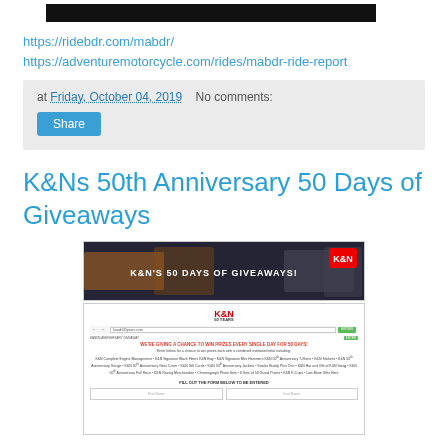[Figure (screenshot): Black bar at top of page, part of a screenshot]
https://ridebdr.com/mabdr/
https://adventuremotorcycle.com/rides/mabdr-ride-report
at Friday, October 04, 2019   No comments:
Share
K&Ns 50th Anniversary 50 Days of Giveaways
[Figure (screenshot): Screenshot of K&N's 50 Days of Giveaways promotional webpage showing a banner with the text K&N'S 50 DAYS OF GIVEAWAYS! and below it a form page with entry fields]